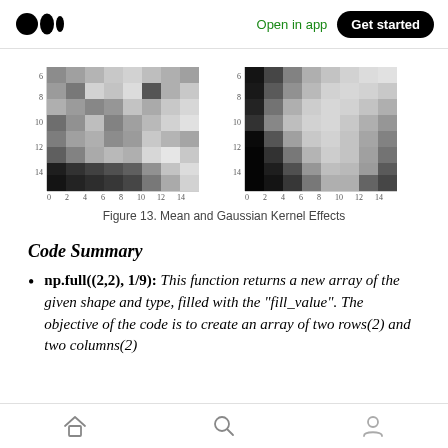Medium — Open in app  Get started
[Figure (other): Two grayscale pixel grid images side by side showing Mean and Gaussian Kernel effects, each with axes from 0 to 14 on both x and y.]
Figure 13. Mean and Gaussian Kernel Effects
Code Summary
np.full((2,2), 1/9): This function returns a new array of the given shape and type, filled with the "fill_value". The objective of the code is to create an array of two rows(2) and two columns(2)
Home  Search  Profile